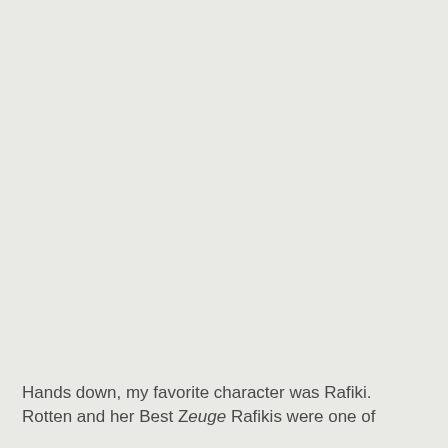Hands down, my favorite character was Rafiki. Rotten and her Best Zeuge Rafikis were one of